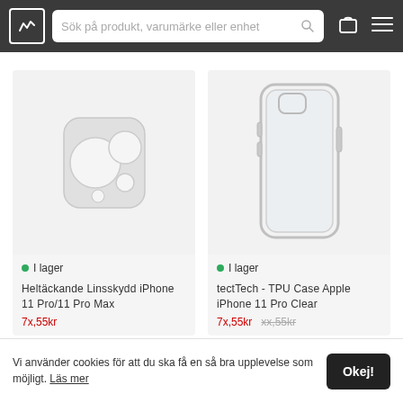Sök på produkt, varumärke eller enhet
[Figure (photo): Heltäckande Linsskydd iPhone 11 Pro/11 Pro Max - camera lens cover product image on light grey background]
I lager
Heltäckande Linsskydd iPhone 11 Pro/11 Pro Max
[Figure (photo): tectTech - TPU Case Apple iPhone 11 Pro Clear - transparent phone case product image on light grey background]
I lager
tectTech - TPU Case Apple iPhone 11 Pro Clear
Vi använder cookies för att du ska få en så bra upplevelse som möjligt. Läs mer